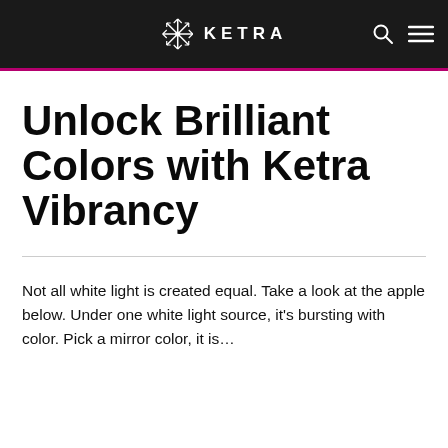KETRA
Unlock Brilliant Colors with Ketra Vibrancy
Not all white light is created equal. Take a look at the apple below. Under one white light source, it's bursting with color. Pick a mirror color, it is…